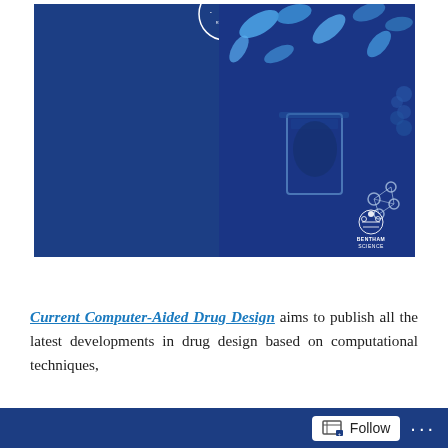[Figure (illustration): Book cover of 'Current Computer-Aided Drug Design' journal published by Bentham Science. Left half is solid dark blue; right half shows a blue-tinted photo of pharmaceutical capsules/pills, a beaker with a researcher silhouette, and molecular structures. Bentham Science logo appears at bottom right. A circular seal/logo is partially visible at the top center.]
Current Computer-Aided Drug Design aims to publish all the latest developments in drug design based on computational techniques.